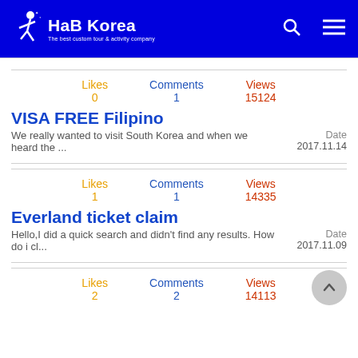HaB Korea - The best custom tour & activity company
Likes 0  Comments 1  Views 15124
VISA FREE Filipino
We really wanted to visit South Korea and when we heard the ...  Date  2017.11.14
Likes 1  Comments 1  Views 14335
Everland ticket claim
Hello,I did a quick search and didn't find any results. How do i cl...  Date  2017.11.09
Likes 2  Comments 2  Views 14113